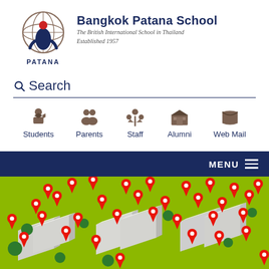[Figure (logo): Bangkok Patana School globe/figure logo with PATANA text below]
Bangkok Patana School
The British International School in Thailand
Established 1957
Search
[Figure (infographic): Navigation icons for Students, Parents, Staff, Alumni, Web Mail]
MENU
[Figure (map): Aerial/isometric view of Bangkok Patana School campus with red map pin location markers scattered across multiple buildings and green grounds]